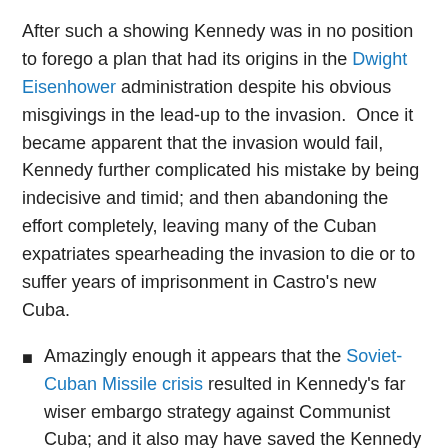After such a showing Kennedy was in no position to forego a plan that had its origins in the Dwight Eisenhower administration despite his obvious misgivings in the lead-up to the invasion.  Once it became apparent that the invasion would fail, Kennedy further complicated his mistake by being indecisive and timid; and then abandoning the effort completely, leaving many of the Cuban expatriates spearheading the invasion to die or to suffer years of imprisonment in Castro's new Cuba.
Amazingly enough it appears that the Soviet-Cuban Missile crisis resulted in Kennedy's far wiser embargo strategy against Communist Cuba; and it also may have saved the Kennedy marriage.  Many within the Kennedy inner circle, even the men on the Secret [continues below]